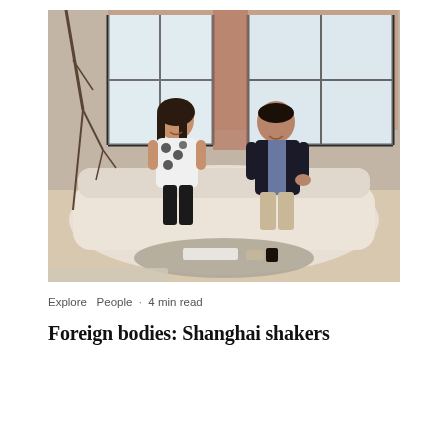[Figure (photo): Two people, a woman in a black and white floral top and black pants, and a man in a dark blazer and khaki trousers, seated on a cream sofa in an interior space with large industrial windows and a bare tree branch. A coffee table with books and objects is in the foreground.]
Explore  People  ·  4 min read
Foreign bodies: Shanghai shakers